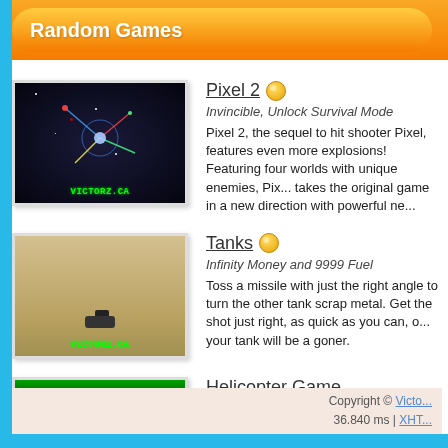Random Games
Pixel 2
Invincible, Unlock Survival Mode
Pixel 2, the sequel to hit shooter Pixel, features even more explosions! Featuring four worlds with unique enemies, Pix... takes the original game in a new direction with powerful ne...
Tanks
Infinity Money and 9999 Fuel
Toss a missile with just the right angle to turn the other tank scrap metal. Get the shot just right, as quick as you can, o... your tank will be a goner.
Helicopter Game
Up, Down, Up, Down, BOOM!
Copyright © Victo... 36.840 ms | XHT...